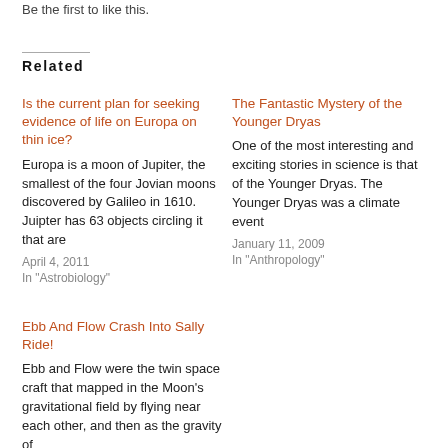Be the first to like this.
Related
Is the current plan for seeking evidence of life on Europa on thin ice?
Europa is a moon of Jupiter, the smallest of the four Jovian moons discovered by Galileo in 1610. Juipter has 63 objects circling it that are
April 4, 2011
In "Astrobiology"
The Fantastic Mystery of the Younger Dryas
One of the most interesting and exciting stories in science is that of the Younger Dryas. The Younger Dryas was a climate event
January 11, 2009
In "Anthropology"
Ebb And Flow Crash Into Sally Ride!
Ebb and Flow were the twin space craft that mapped in the Moon's gravitational field by flying near each other, and then as the gravity of